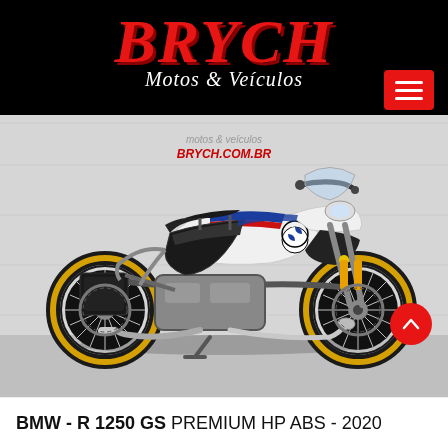BRYCH Motos & Veículos
[Figure (photo): BMW R 1250 GS Premium HP ABS 2020 motorcycle in white with blue and red accents and gold wheels, photographed in a showroom with BRYCH.COM.BR watermark visible]
BMW - R 1250 GS PREMIUM HP ABS - 2020